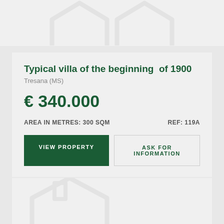[Figure (illustration): Partial view of a house outline illustration (logo/icon), light grey, cropped at top of page]
Typical villa of the beginning of 1900
Tresana (MS)
€ 340.000
AREA IN METRES: 300 SQM
REF: 119A
VIEW PROPERTY
ASK FOR INFORMATION
[Figure (illustration): Partial view of a house outline illustration (logo/icon), light grey, cropped at bottom of page]